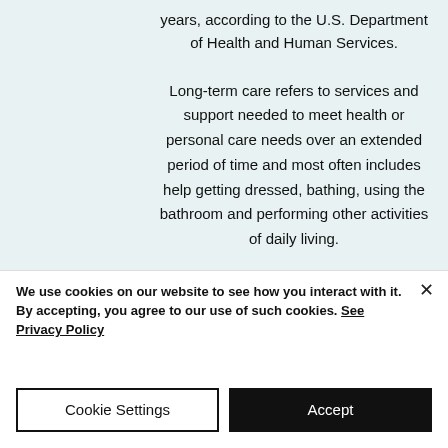years, according to the U.S. Department of Health and Human Services.
Long-term care refers to services and support needed to meet health or personal care needs over an extended period of time and most often includes help getting dressed, bathing, using the bathroom and performing other activities of daily living.
We use cookies on our website to see how you interact with it. By accepting, you agree to our use of such cookies. See Privacy Policy